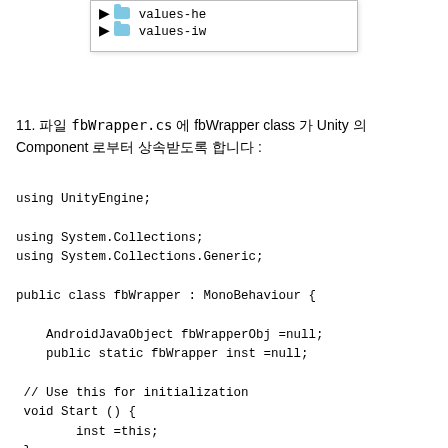[Figure (screenshot): File explorer showing two items: values-he and values-iw folders]
11. 파일 fbWrapper.cs 에 fbWrapper class 가 Unity 의 Component 로부터 상속받도록 합니다 :
using UnityEngine;

using System.Collections;
using System.Collections.Generic;

public class fbWrapper : MonoBehaviour {

    AndroidJavaObject fbWrapperObj =null;
    public static fbWrapper inst =null;

 // Use this for initialization
 void Start () {
        inst =this;
 }

    void OnApplicationQuit(){
        dispose();
        inst =null;
    }